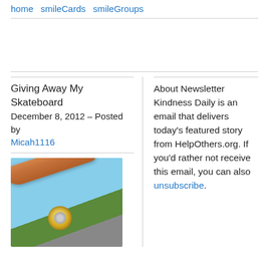home smileCards smileGroups
Giving Away My Skateboard
December 8, 2012 – Posted by Micah1116
[Figure (photo): Close-up photo of a skateboard showing the underside of the deck, trucks, and a yellow wheel against a blue sky background]
About Newsletter Kindness Daily is an email that delivers today's featured story from HelpOthers.org. If you'd rather not receive this email, you can also unsubscribe.